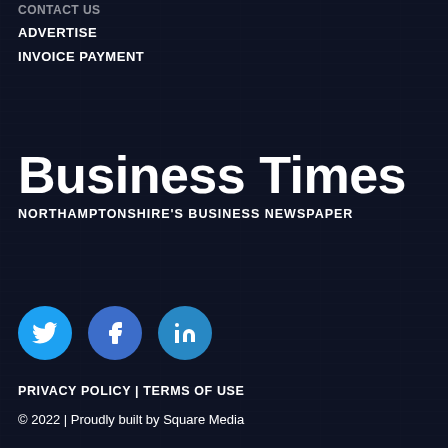CONTACT US
ADVERTISE
INVOICE PAYMENT
Business Times
NORTHAMPTONSHIRE'S BUSINESS NEWSPAPER
[Figure (illustration): Three circular social media icon buttons: Twitter (blue), Facebook (medium blue), LinkedIn (blue)]
PRIVACY POLICY | TERMS OF USE
© 2022 | Proudly built by Square Media